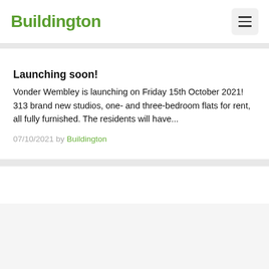Buildington
Launching soon!
Vonder Wembley is launching on Friday 15th October 2021! 313 brand new studios, one- and three-bedroom flats for rent, all fully furnished. The residents will have...
07/10/2021 by Buildington